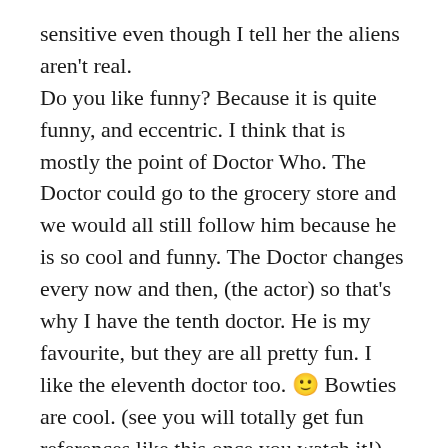sensitive even though I tell her the aliens aren't real. Do you like funny? Because it is quite funny, and eccentric. I think that is mostly the point of Doctor Who. The Doctor could go to the grocery store and we would all still follow him because he is so cool and funny. The Doctor changes every now and then, (the actor) so that's why I have the tenth doctor. He is my favourite, but they are all pretty fun. I like the eleventh doctor too. 🙂 Bowties are cool. (see you will totally get fun references like this once you watch it!) Basic premise: The Doctor is an alien from another planet who travels through time and space in his little blue box space ship that is bigger on the inside than the outside. He takes along his human companion and they